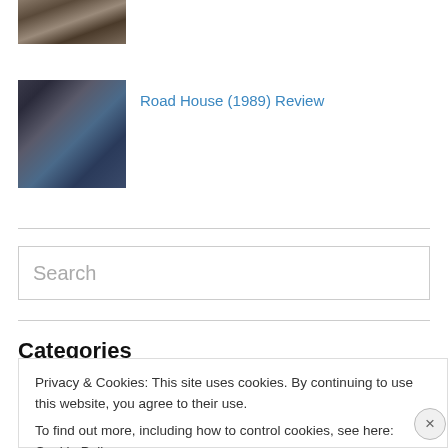[Figure (photo): Small thumbnail image at top, appears to show people or scene, partially cropped]
[Figure (photo): Movie thumbnail image for Road House (1989), showing a person standing near what appears to be movie posters or shelves]
Road House (1989) Review
Search
Categories
Privacy & Cookies: This site uses cookies. By continuing to use this website, you agree to their use.
To find out more, including how to control cookies, see here: Cookie Policy
Close and accept